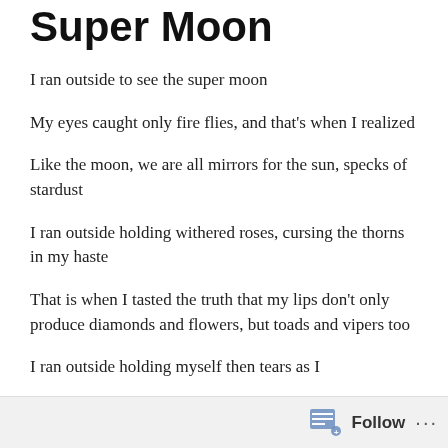Super Moon
I ran outside to see the super moon
My eyes caught only fire flies, and that's when I realized
Like the moon, we are all mirrors for the sun, specks of stardust
I ran outside holding withered roses, cursing the thorns in my haste
That is when I tasted the truth that my lips don't only produce diamonds and flowers, but toads and vipers too
I ran outside holding myself then tears as I...
Follow